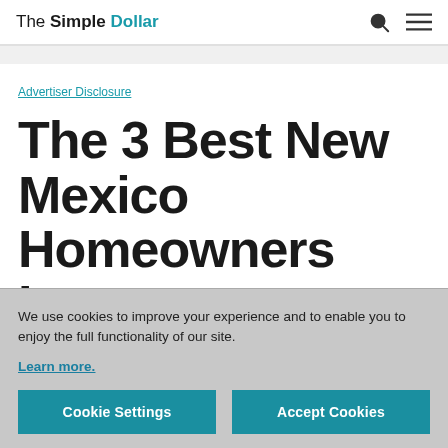The Simple Dollar
Advertiser Disclosure
The 3 Best New Mexico Homeowners Insurance
We use cookies to improve your experience and to enable you to enjoy the full functionality of our site.
Learn more.
Cookie Settings   Accept Cookies